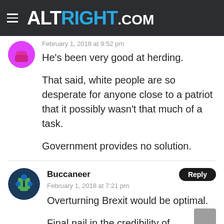ALTRIGHT.COM
February 1, 2018 at 9:52 pm
He’s been very good at herding.

That said, white people are so desperate for anyone close to a patriot that it possibly wasn’t that much of a task.

Government provides no solution.
Buccaneer
February 1, 2018 at 7:21 pm
Overturning Brexit would be optimal.

Final nail in the credibility of